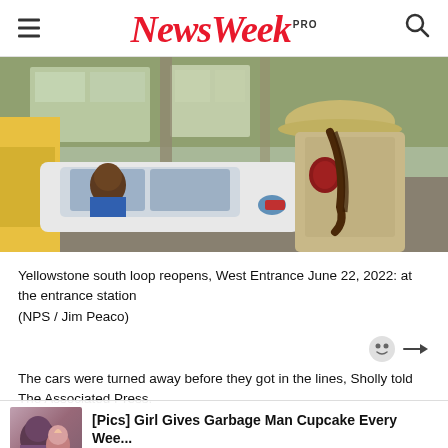NewsWeek PRO
[Figure (photo): A National Park Service ranger in uniform with a wide-brim hat handing something to a smiling man in a white car at a park entrance station. A building with large windows is visible in the background.]
Yellowstone south loop reopens, West Entrance June 22, 2022: at the entrance station
(NPS / Jim Peaco)
The cars were turned away before they got in the lines, Sholly told The Associated Press.
[Figure (photo): Advertisement overlay showing [Pics] Girl Gives Garbage Man Cupcake Every Wee... Sponsored | HealthyGem]